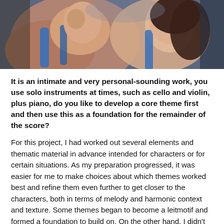[Figure (illustration): Animated illustration showing two female characters in close proximity, rendered in a painterly style with warm skin tones and blue clothing against a darker background.]
It is an intimate and very personal-sounding work, you use solo instruments at times, such as cello and violin, plus piano, do you like to develop a core theme first and then use this as a foundation for the remainder of the score?
For this project, I had worked out several elements and thematic material in advance intended for characters or for certain situations. As my preparation progressed, it was easier for me to make choices about which themes worked best and refine them even further to get closer to the characters, both in terms of melody and harmonic context and texture. Some themes began to become a leitmotif and formed a foundation to build on. On the other hand, I didn't want to exaggerate with the leitmotif. I had to deal with this subtly to give the